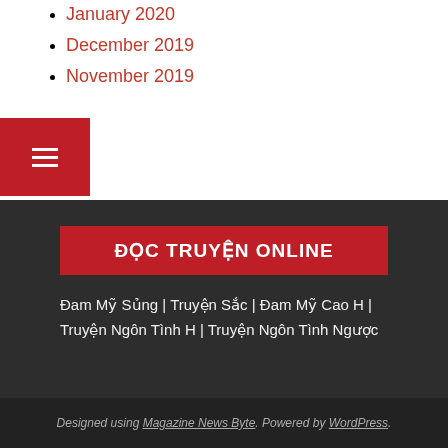January 2020
December 2019
November 2019
ĐỌC TRUYỆN ONLINE
Đam Mỹ Sủng | Truyện Sắc | Đam Mỹ Cao H | Truyện Ngôn Tình H | Truyện Ngôn Tình Ngược
Designed using Magazine News Byte. Powered by WordPress.